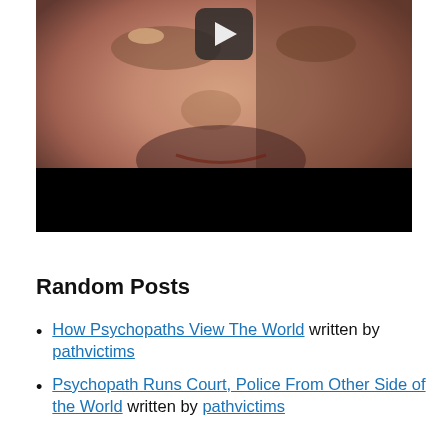[Figure (screenshot): A close-up video thumbnail of a man's face with a dark lower portion (black bar). A play button icon is visible at the top center of the video player.]
Random Posts
How Psychopaths View The World written by pathvictims
Psychopath Runs Court, Police From Other Side of the World written by pathvictims